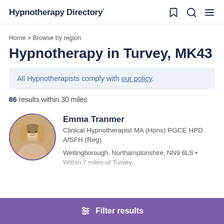Hypnotherapy Directory°
Home > Browse by region
Hypnotherapy in Turvey, MK43
All Hypnotherapists comply with our policy.
86 results within 30 miles
[Figure (photo): Profile photo of Emma Tranmer, a blonde woman]
Emma Tranmer
Clinical Hypnotherapist MA (Hons) PGCE HPD AfSFH (Reg)
Wellingborough, Northamptonshire, NN9 6LS •
Within 7 miles of Turvey
Filter results